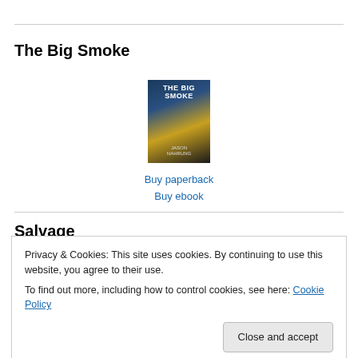The Big Smoke
[Figure (illustration): Book cover of 'The Big Smoke' by Jason Nahrung, showing dark urban imagery with a taxi and smoky city background]
Buy paperback
Buy ebook
Salvage
Privacy & Cookies: This site uses cookies. By continuing to use this website, you agree to their use.
To find out more, including how to control cookies, see here: Cookie Policy
Close and accept
Buy paperback
Buy ebook